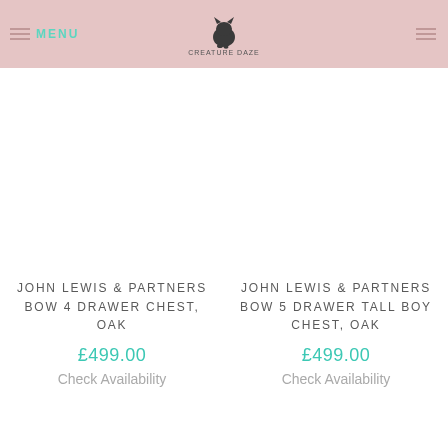MENU | [logo] | [menu icon]
JOHN LEWIS & PARTNERS BOW 4 DRAWER CHEST, OAK
£499.00
Check Availability
JOHN LEWIS & PARTNERS BOW 5 DRAWER TALL BOY CHEST, OAK
£499.00
Check Availability